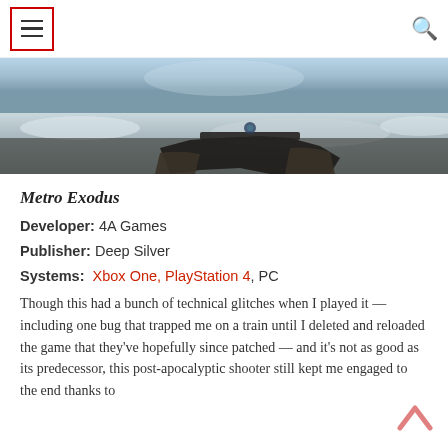Navigation menu and search icon header
[Figure (photo): First-person shooter game screenshot showing a snowy winter environment with a weapon held in the player's hands, from Metro Exodus]
Metro Exodus
Developer: 4A Games
Publisher: Deep Silver
Systems: Xbox One, PlayStation 4, PC
Though this had a bunch of technical glitches when I played it — including one bug that trapped me on a train until I deleted and reloaded the game that they've hopefully since patched — and it's not as good as its predecessor, this post-apocalyptic shooter still kept me engaged to the end thanks to